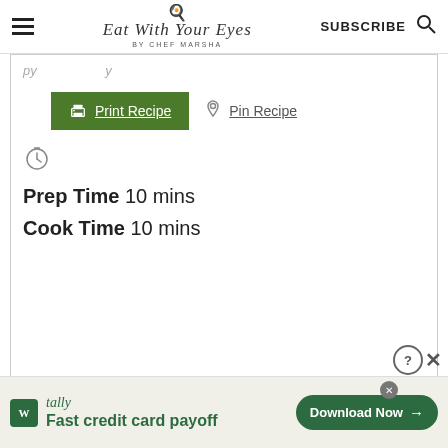Eat With Your Eyes by Chef Marsha — SUBSCRIBE
Prep Time 10 mins
Cook Time 10 mins
[Figure (screenshot): Print Recipe button (green) and Pin Recipe button with icons]
[Figure (infographic): Tally advertisement: Fast credit card payoff — Download Now button]